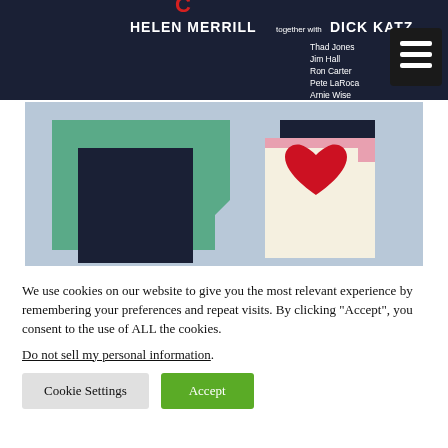[Figure (illustration): Album cover for Helen Merrill together with Dick Katz. Dark navy top band with text listing Thad Jones, Jim Hall, Ron Carter, Pete LaRoca, Arnie Wise, arrangements by Dick Katz. A hamburger menu icon in a dark rectangle top right. Below: light blue-gray background with two abstract geometric shapes — left: a teal/green layered rectangle with a dark navy square inset; right: a cream/beige card shape with pink and dark navy edges, featuring a red heart shape in the center.]
We use cookies on our website to give you the most relevant experience by remembering your preferences and repeat visits. By clicking “Accept”, you consent to the use of ALL the cookies.
Do not sell my personal information.
Cookie Settings
Accept